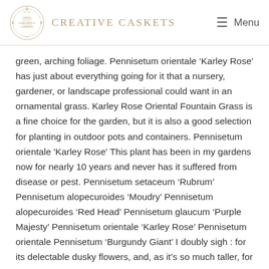CREATIVE CASKETS | Menu
green, arching foliage. Pennisetum orientale ‘Karley Rose’ has just about everything going for it that a nursery, gardener, or landscape professional could want in an ornamental grass. Karley Rose Oriental Fountain Grass is a fine choice for the garden, but it is also a good selection for planting in outdoor pots and containers. Pennisetum orientale 'Karley Rose' This plant has been in my gardens now for nearly 10 years and never has it suffered from disease or pest. Pennisetum setaceum ‘Rubrum’ Pennisetum alopecuroides ‘Moudry’ Pennisetum alopecuroides ‘Red Head’ Pennisetum glaucum ‘Purple Majesty’ Pennisetum orientale ‘Karley Rose’ Pennisetum orientale Pennisetum ‘Burgundy Giant’ I doubly sigh : for its delectable dusky flowers, and, as it’s so much taller, for its being floppier than ever. Graceful, upright, smoky rose purple flower spikes that nearly glow when back lit by